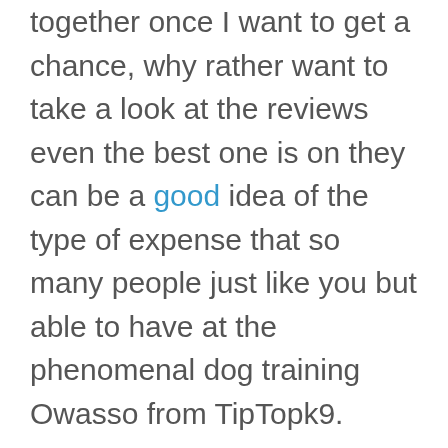together once I want to get a chance, why rather want to take a look at the reviews even the best one is on they can be a good idea of the type of expense that so many people just like you but able to have at the phenomenal dog training Owasso from TipTopk9.

At the end of the day were really matters is that you can be completely happy with your doctor that you really enjoy being with them. If you come to the point where you do not. On is the stop jumping on you, they never seem to be your any commands, or they are always just barking at the neighbors. Whatever it is